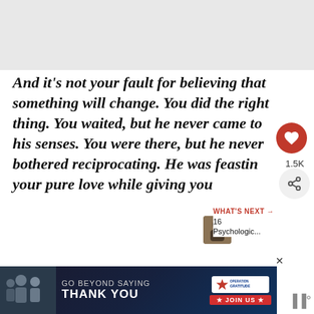[Figure (photo): Gray placeholder box at top of page]
And it's not your fault for believing that something will change. You did the right thing. You waited, but he never came to his senses. You were there, but he never bothered reciprocating. He was feastin your pure love while giving you
[Figure (infographic): Red heart like button with 1.5K count and share icon]
[Figure (infographic): WHAT'S NEXT arrow label with thumbnail image and text '16 Psychologic...']
[Figure (photo): Advertisement banner: GO BEYOND SAYING THANK YOU - Operation Gratitude JOIN US]